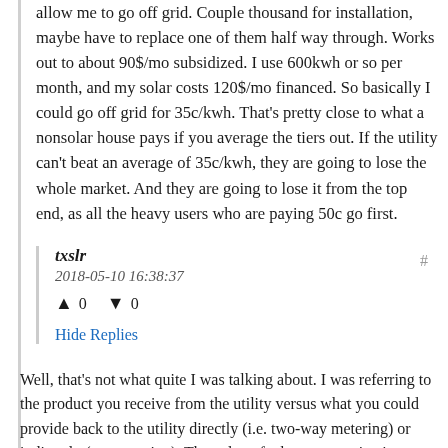allow me to go off grid. Couple thousand for installation, maybe have to replace one of them half way through. Works out to about 90$/mo subsidized. I use 600kwh or so per month, and my solar costs 120$/mo financed. So basically I could go off grid for 35c/kwh. That's pretty close to what a nonsolar house pays if you average the tiers out. If the utility can't beat an average of 35c/kwh, they are going to lose the whole market. And they are going to lose it from the top end, as all the heavy users who are paying 50c go first.
txslr
2018-05-10 16:38:37
▲ 0 ▼ 0
Hide Replies
Well, that's not what quite I was talking about. I was referring to the product you receive from the utility versus what you could provide back to the utility directly (i.e. two-way metering) or indirectly (net metering). The value of what you receive is different than what you